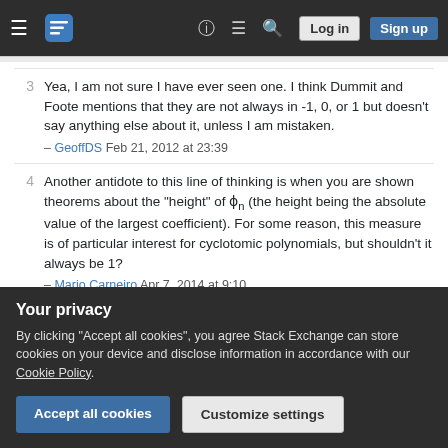Stack Exchange navigation bar with hamburger, logo, help, chat, search, Log in, Sign up
3 Yea, I am not sure I have ever seen one. I think Dummit and Foote mentions that they are not always in -1, 0, or 1 but doesn't say anything else about it, unless I am mistaken. – GeoffDS Feb 21, 2012 at 23:39
4 Another antidote to this line of thinking is when you are shown theorems about the "height" of φ_n (the height being the absolute value of the largest coefficient). For some reason, this measure is of particular interest for cyclotomic polynomials, but shouldn't it always be 1? – Mario Carneiro Apr 7, 2014 at 9:10
2 I'd like to vote for this answer, but I will desist since it (now)
Your privacy
By clicking "Accept all cookies", you agree Stack Exchange can store cookies on your device and disclose information in accordance with our Cookie Policy.
Accept all cookies  Customize settings